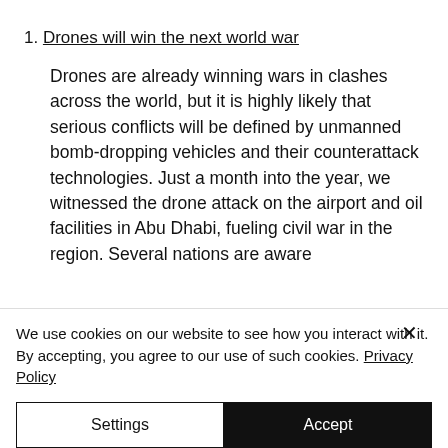1. Drones will win the next world war
Drones are already winning wars in clashes across the world, but it is highly likely that serious conflicts will be defined by unmanned bomb-dropping vehicles and their counterattack technologies. Just a month into the year, we witnessed the drone attack on the airport and oil facilities in Abu Dhabi, fueling civil war in the region. Several nations are aware
We use cookies on our website to see how you interact with it. By accepting, you agree to our use of such cookies. Privacy Policy
Settings
Accept